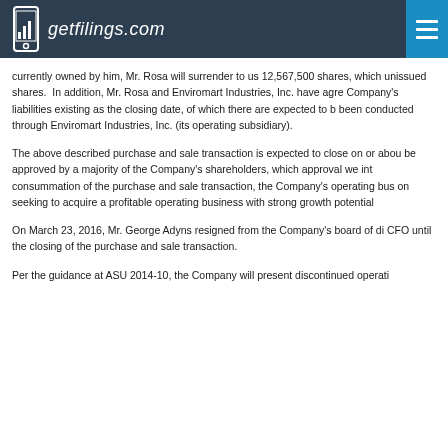getfilings.com
currently owned by him, Mr. Rosa will surrender to us 12,567,500 shares, which unissued shares. In addition, Mr. Rosa and Enviromart Industries, Inc. have agreed Company's liabilities existing as the closing date, of which there are expected to been conducted through Enviromart Industries, Inc. (its operating subsidiary).
The above described purchase and sale transaction is expected to close on or about be approved by a majority of the Company's shareholders, which approval we int consummation of the purchase and sale transaction, the Company's operating bus on seeking to acquire a profitable operating business with strong growth potential
On March 23, 2016, Mr. George Adyns resigned from the Company's board of di CFO until the closing of the purchase and sale transaction.
Per the guidance at ASU 2014-10, the Company will present discontinued operati